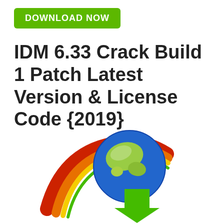[Figure (other): Green download button with white bold text reading DOWNLOAD NOW]
IDM 6.33 Crack Build 1 Patch Latest Version & License Code {2019}
[Figure (logo): Internet Download Manager (IDM) logo: a globe with colorful swoosh arrow (red, orange, yellow, green) and a green download arrow pointing down-right]